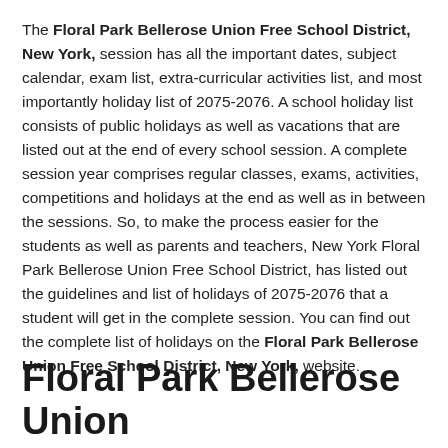The Floral Park Bellerose Union Free School District, New York, session has all the important dates, subject calendar, exam list, extra-curricular activities list, and most importantly holiday list of 2075-2076. A school holiday list consists of public holidays as well as vacations that are listed out at the end of every school session. A complete session year comprises regular classes, exams, activities, competitions and holidays at the end as well as in between the sessions. So, to make the process easier for the students as well as parents and teachers, New York Floral Park Bellerose Union Free School District, has listed out the guidelines and list of holidays of 2075-2076 that a student will get in the complete session. You can find out the complete list of holidays on the Floral Park Bellerose Union Free School District, New York, website.
Floral Park Bellerose Union